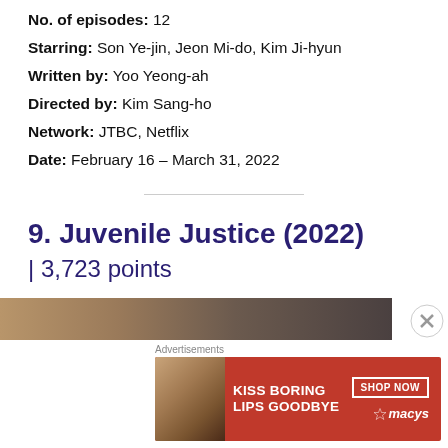No. of episodes: 12
Starring: Son Ye-jin, Jeon Mi-do, Kim Ji-hyun
Written by: Yoo Yeong-ah
Directed by: Kim Sang-ho
Network: JTBC, Netflix
Date: February 16 – March 31, 2022
9. Juvenile Justice (2022)
| 3,723 points
[Figure (photo): Partial image strip of show thumbnail at bottom of section]
Advertisements
[Figure (illustration): Macy's advertisement banner: KISS BORING LIPS GOODBYE with SHOP NOW button and Macy's logo]